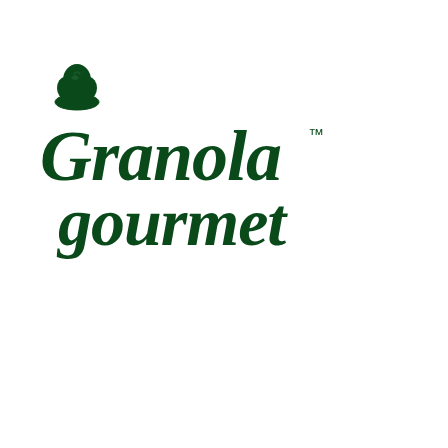[Figure (logo): Granola Gourmet logo: dark green stylized text reading 'Granola' on top with a chef's hat icon above the G, and 'gourmet' below in matching dark green decorative font, with a TM trademark symbol after 'Granola']